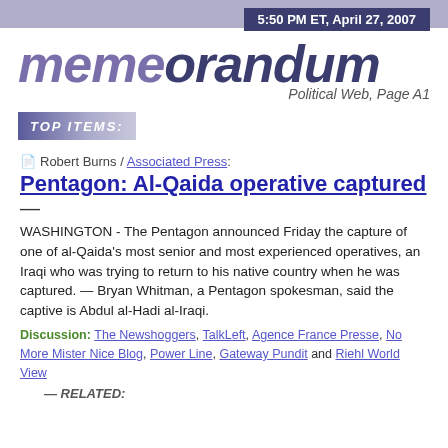5:50 PM ET, April 27, 2007
memeorandum
Political Web, Page A1
TOP ITEMS:
Robert Burns / Associated Press:
Pentagon: Al-Qaida operative captured — WASHINGTON - The Pentagon announced Friday the capture of one of al-Qaida's most senior and most experienced operatives, an Iraqi who was trying to return to his native country when he was captured. — Bryan Whitman, a Pentagon spokesman, said the captive is Abdul al-Hadi al-Iraqi.
Discussion: The Newshoggers, TalkLeft, Agence France Presse, No More Mister Nice Blog, Power Line, Gateway Pundit and Riehl World View
RELATED: